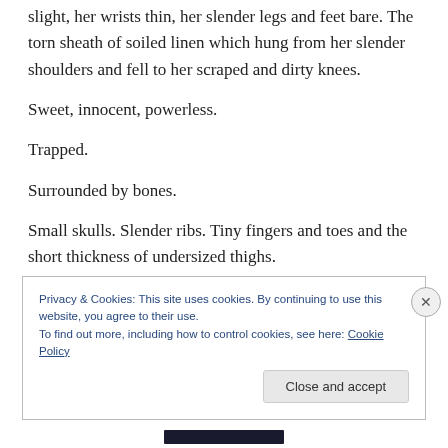slight, her wrists thin, her slender legs and feet bare. The torn sheath of soiled linen which hung from her slender shoulders and fell to her scraped and dirty knees.
Sweet, innocent, powerless.
Trapped.
Surrounded by bones.
Small skulls. Slender ribs. Tiny fingers and toes and the short thickness of undersized thighs.
Privacy & Cookies: This site uses cookies. By continuing to use this website, you agree to their use.
To find out more, including how to control cookies, see here: Cookie Policy